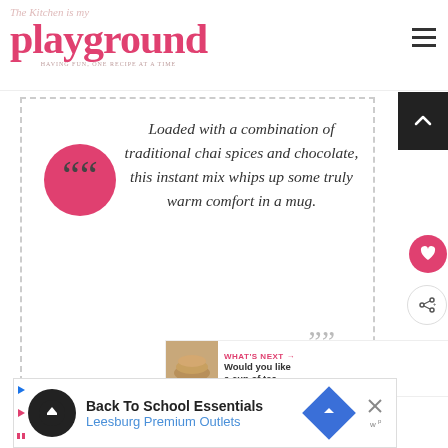The Kitchen is my Playground - Having fun, one recipe at a time
Loaded with a combination of traditional chai spices and chocolate, this instant mix whips up some truly warm comfort in a mug.
WHAT'S NEXT → Would you like a cup of tea...
Back To School Essentials Leesburg Premium Outlets